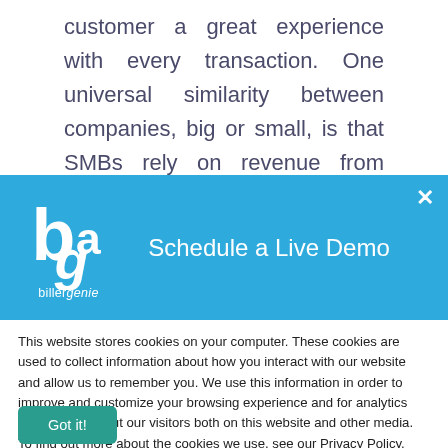customer a great experience with every transaction. One universal similarity between companies, big or small, is that SMBs rely on revenue from customers to thrive. The primary difference is that SMBs typically have
[Figure (screenshot): BillerGenie modal dialog with blue header containing logo and 'Schedule a Live Demo' title with a close X button]
This website stores cookies on your computer. These cookies are used to collect information about how you interact with our website and allow us to remember you. We use this information in order to improve and customize your browsing experience and for analytics and metrics about our visitors both on this website and other media. To find out more about the cookies we use, see our Privacy Policy.
Got it!